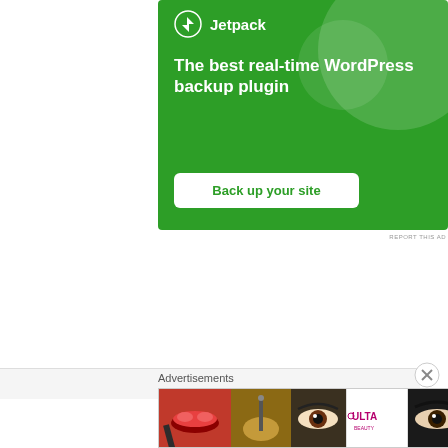[Figure (illustration): Jetpack advertisement: green background with circular decorative elements, Jetpack logo and brand name at top, headline 'The best real-time WordPress backup plugin', and a white 'Back up your site' call-to-action button.]
REPORT THIS AD
Pokémon Scarlet and Violet
November 18, 2022
Advertisements
[Figure (illustration): ULTA Beauty advertisement banner showing makeup imagery: red lips with makeup brush, eye with mascara brush, ULTA logo, eye with eyeliner, and 'SHOP NOW' text on grey background.]